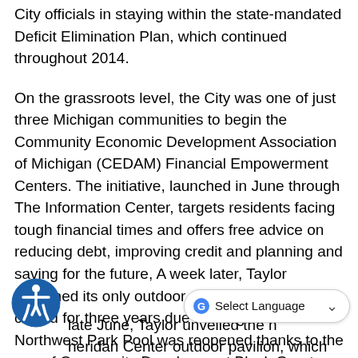City officials in staying within the state-mandated Deficit Elimination Plan, which continued throughout 2014.
On the grassroots level, the City was one of just three Michigan communities to begin the Community Economic Development Association of Michigan (CEDAM) Financial Empowerment Centers. The initiative, launched in June through The Information Center, targets residents facing tough financial times and offers free advice on reducing debt, improving credit and planning and saving for the future, A week later, Taylor reopened its only outdoor pool, which had been closed for three years due to budget restraints. Northwest Park Pool was reopened thanks to the use of Community Development Block Grant funds.
In late June, Taylor unveiled the new Sheridan Center outdoor pavilion, which